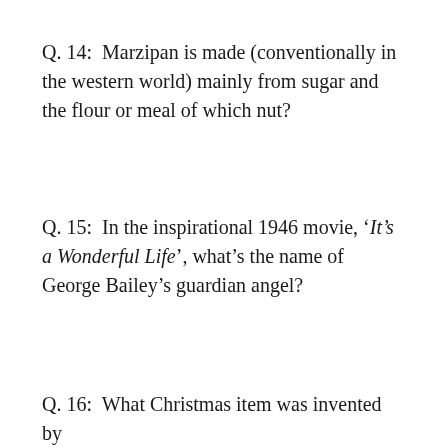Q. 14:  Marzipan is made (conventionally in the western world) mainly from sugar and the flour or meal of which nut?
Q. 15:  In the inspirational 1946 movie, 'It's a Wonderful Life', what's the name of George Bailey's guardian angel?
Q. 16:  What Christmas item was invented by